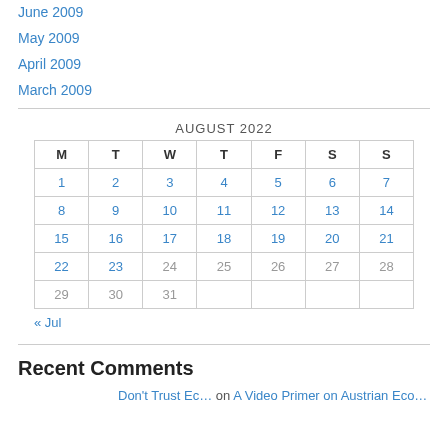June 2009
May 2009
April 2009
March 2009
| M | T | W | T | F | S | S |
| --- | --- | --- | --- | --- | --- | --- |
| 1 | 2 | 3 | 4 | 5 | 6 | 7 |
| 8 | 9 | 10 | 11 | 12 | 13 | 14 |
| 15 | 16 | 17 | 18 | 19 | 20 | 21 |
| 22 | 23 | 24 | 25 | 26 | 27 | 28 |
| 29 | 30 | 31 |  |  |  |  |
Recent Comments
Don't Trust Ec… on A Video Primer on Austrian Eco…